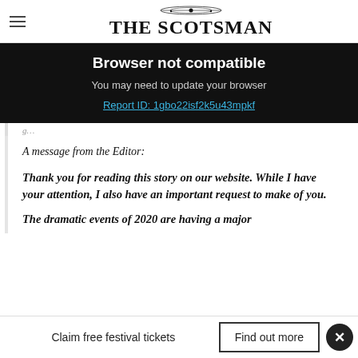THE SCOTSMAN
Browser not compatible
You may need to update your browser
Report ID: 1gbo22isf2k5u43mpkf
A message from the Editor:
Thank you for reading this story on our website. While I have your attention, I also have an important request to make of you.
The dramatic events of 2020 are having a major
Claim free festival tickets  Find out more